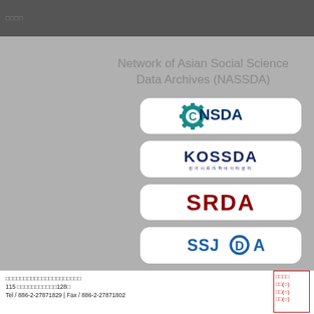□□□□
Network of Asian Social Science Data Archives (NASSDA)
[Figure (logo): NSDA logo - teal gear icon with C and NSDA text]
[Figure (logo): KOSSDA logo - dark blue text with Korean subtitle]
[Figure (logo): SRDA logo - dark red bold text]
[Figure (logo): SSJDA logo - blue text with blue circle D]
□□□□□□□□□□□□□□□□□□□□□
115 □□□□□□□□□□□128□
Tel / 886-2-27871829 | Fax / 886-2-27871802
□□□□ □□(○) □□(○) □□(○)